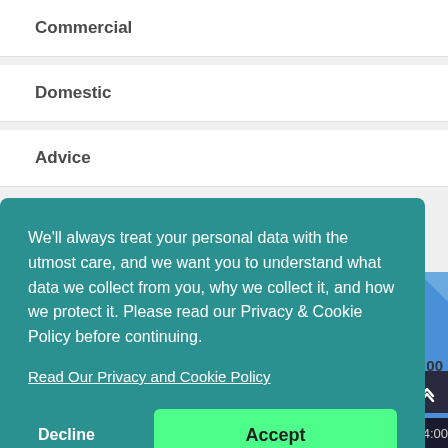Commercial
Domestic
Advice
We'll always treat your personal data with the utmost care, and we want you to understand what data we collect from you, why we collect it, and how we protect it. Please read our Privacy & Cookie Policy before continuing.
Read Our Privacy and Cookie Policy
Decline
Accept
Wednesday
00:00 - 24:00